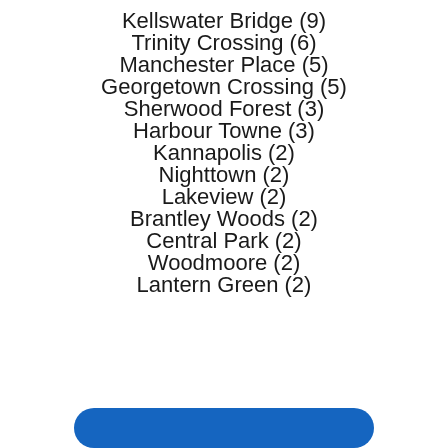Kellswater Bridge (9)
Trinity Crossing (6)
Manchester Place (5)
Georgetown Crossing (5)
Sherwood Forest (3)
Harbour Towne (3)
Kannapolis (2)
Nighttown (2)
Lakeview (2)
Brantley Woods (2)
Central Park (2)
Woodmoore (2)
Lantern Green (2)